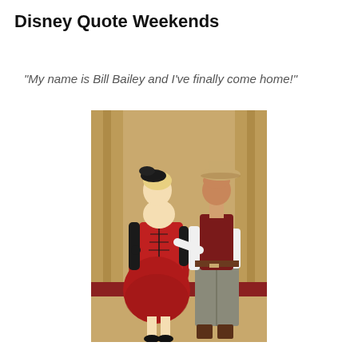Disney Quote Weekends
"My name is Bill Bailey and I've finally come home!"
[Figure (photo): Two people in costumes posing together. A woman in a red corset-style dress with black gloves and a black feathered headpiece, and a man in a cowboy hat, red/maroon vest, white shirt, and grey trousers, leaning in toward her. They are standing in front of gold/tan curtains on a wooden floor.]